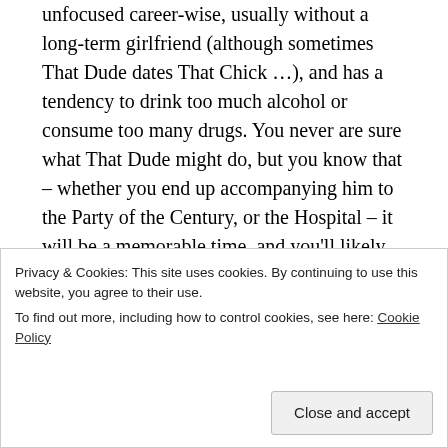unfocused career-wise, usually without a long-term girlfriend (although sometimes That Dude dates That Chick …), and has a tendency to drink too much alcohol or consume too many drugs. You never are sure what That Dude might do, but you know that – whether you end up accompanying him to the Party of the Century, or the Hospital – it will be a memorable time, and you'll likely have good stories to tell.
[Figure (photo): A stylized pop-art style portrait image in blue, red, and black tones, showing a person's silhouette/face in profile.]
That Dude isn't
who are
Privacy & Cookies: This site uses cookies. By continuing to use this website, you agree to their use.
To find out more, including how to control cookies, see here: Cookie Policy
Close and accept